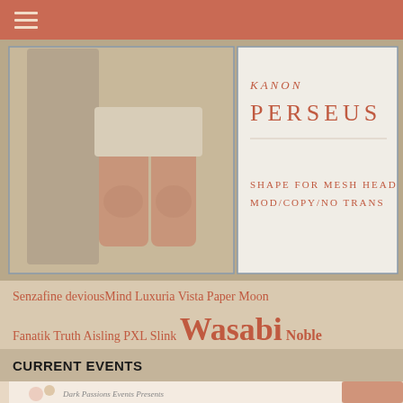Navigation menu (hamburger icon)
[Figure (photo): Product image showing KANON PERSEUS shape for mesh head, MOD/COPY/NO TRANS. Shows legs of a male avatar in shorts alongside a product card with text.]
Senzafine deviousMind Luxuria Vista Paper Moon Fanatik Truth Aisling PXL Slink Wasabi Noble Creations Roawenwood Exile Tuli lassitude & ennui The Muses Mesh Faida Adam n Eve alaskametro Fallen Gods Dutchie Voluptas Virtualis The Plastik
CURRENT EVENTS
[Figure (photo): Bottom preview image showing Dark Passions Events Presents with floral decorations and a woman with red hair]